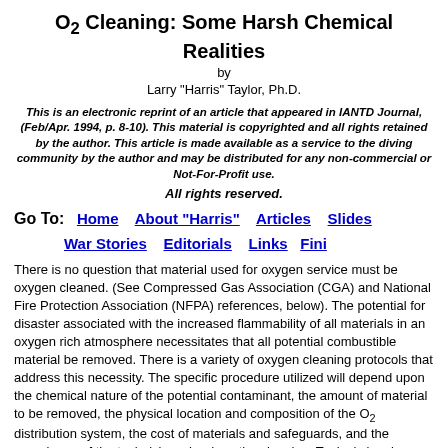O2 Cleaning: Some Harsh Chemical Realities
by
Larry "Harris" Taylor, Ph.D.
This is an electronic reprint of an article that appeared in IANTD Journal, (Feb/Apr. 1994, p. 8-10). This material is copyrighted and all rights retained by the author. This article is made available as a service to the diving community by the author and may be distributed for any non-commercial or Not-For-Profit use.
All rights reserved.
Go To: Home   About "Harris"   Articles   Slides
War Stories   Editorials   Links   Fini
There is no question that material used for oxygen service must be oxygen cleaned. (See Compressed Gas Association (CGA) and National Fire Protection Association (NFPA) references, below). The potential for disaster associated with the increased flammability of all materials in an oxygen rich atmosphere necessitates that all potential combustible material be removed. There is a variety of oxygen cleaning protocols that address this necessity. The specific procedure utilized will depend upon the chemical nature of the potential contaminant, the amount of material to be removed, the physical location and composition of the O2 distribution system, the cost of materials and safeguards, and the experience of the technician who does the cleaning. Typical cleaning methods include steam cleaning, vapor degreasing, solvent washing, alkaline (base or caustic) immersion, acid cleaning, mechanical cleaning (wire brushes, etc.) and